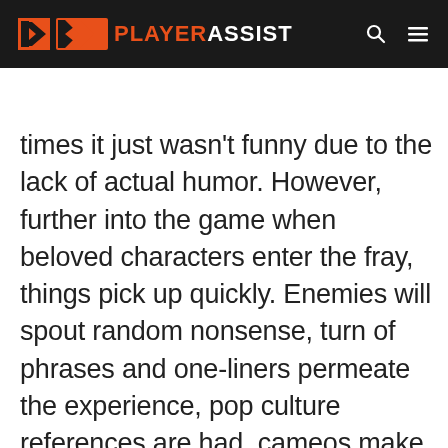PLAYERASSIST
times it just wasn't funny due to the lack of actual humor. However, further into the game when beloved characters enter the fray, things pick up quickly. Enemies will spout random nonsense, turn of phrases and one-liners permeate the experience, pop culture references are had, cameos make their appearance, and hilarious character interactions occur. With that said it's still not hard to make the comparison to the game's predecessor. For better or worse, the writing and humor were just better in Borderlands 2. The journey is still enjoyable in Borderlands 3, but if you're expecting even bigger and